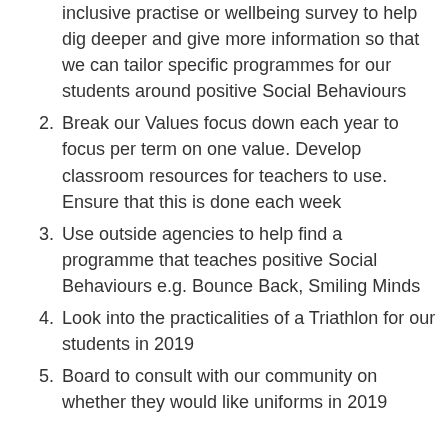inclusive practise or wellbeing survey to help dig deeper and give more information so that we can tailor specific programmes for our students around positive Social Behaviours
2. Break our Values focus down each year to focus per term on one value. Develop classroom resources for teachers to use. Ensure that this is done each week
3. Use outside agencies to help find a programme that teaches positive Social Behaviours e.g. Bounce Back, Smiling Minds
4. Look into the practicalities of a Triathlon for our students in 2019
5. Board to consult with our community on whether they would like uniforms in 2019